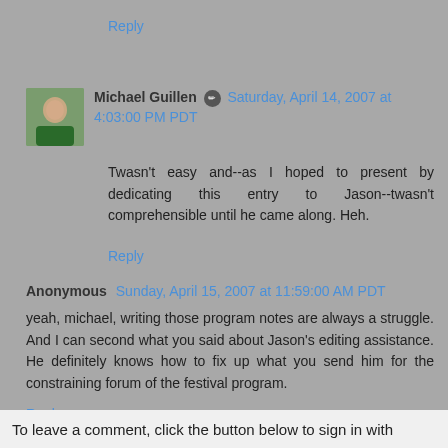Reply
Michael Guillen ✏ Saturday, April 14, 2007 at 4:03:00 PM PDT
Twasn't easy and--as I hoped to present by dedicating this entry to Jason--twasn't comprehensible until he came along. Heh.
Reply
Anonymous Sunday, April 15, 2007 at 11:59:00 AM PDT
yeah, michael, writing those program notes are always a struggle. And I can second what you said about Jason's editing assistance. He definitely knows how to fix up what you send him for the constraining forum of the festival program.
Reply
To leave a comment, click the button below to sign in with